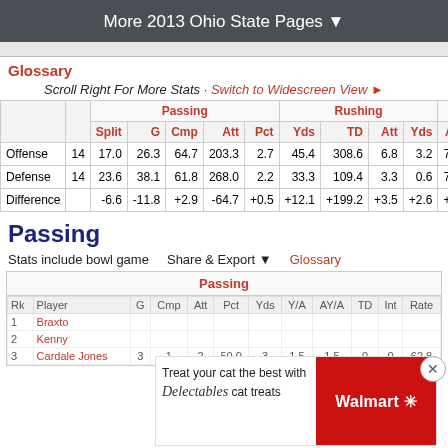More 2013 Ohio State Pages ▼
Glossary
Scroll Right For More Stats · Switch to Widescreen View ►
| Split | G | Cmp | Att | Pct | Yds | TD | Att | Yds | Avg | TD | Plays | Yd |
| --- | --- | --- | --- | --- | --- | --- | --- | --- | --- | --- | --- | --- |
| Offense | 14 | 17.0 | 26.3 | 64.7 | 203.3 | 2.7 | 45.4 | 308.6 | 6.8 | 3.2 | 71.6 | 511. |
| Defense | 14 | 23.6 | 38.1 | 61.8 | 268.0 | 2.2 | 33.3 | 109.4 | 3.3 | 0.6 | 71.4 | 377. |
| Difference |  | -6.6 | -11.8 | +2.9 | -64.7 | +0.5 | +12.1 | +199.2 | +3.5 | +2.6 | +0.2 | +134. |
Passing
Stats include bowl game   Share & Export ▼   Glossary
| Rk | Player | G | Cmp | Att | Pct | Yds | Y/A | AY/A | TD | Int | Rate |
| --- | --- | --- | --- | --- | --- | --- | --- | --- | --- | --- | --- |
| 1 | Braxton |  |  |  |  |  |  |  |  |  |  |
| 2 | Kenny |  |  |  |  |  |  |  |  |  |  |
| 3 | Cardale Jones | 3 | 1 | 2 | 50.0 | 3 | 1.5 | 1.5 | 0 | 0 | 62.8 |
[Figure (screenshot): Walmart Delectables cat treats advertisement overlay]